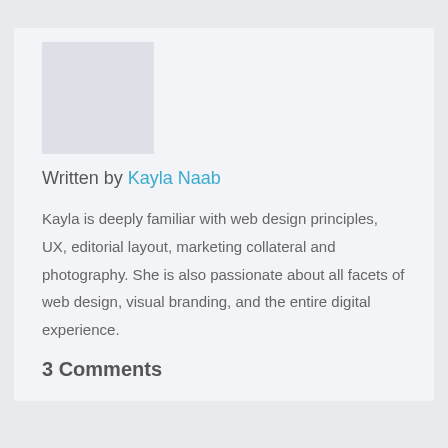[Figure (photo): Author avatar placeholder image, gray rectangle]
Written by Kayla Naab
Kayla is deeply familiar with web design principles, UX, editorial layout, marketing collateral and photography. She is also passionate about all facets of web design, visual branding, and the entire digital experience.
3 Comments